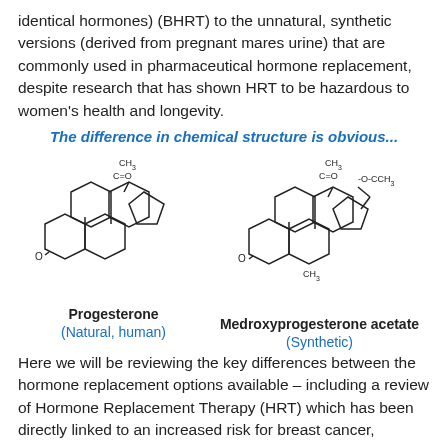identical hormones) (BHRT) to the unnatural, synthetic versions (derived from pregnant mares urine) that are commonly used in pharmaceutical hormone replacement, despite research that has shown HRT to be hazardous to women's health and longevity.
The difference in chemical structure is obvious...
[Figure (illustration): Chemical structure diagram of Progesterone (Natural, human) on the left and Medroxyprogesterone acetate (Synthetic) on the right, showing the steroid ring structures with substituents.]
Here we will be reviewing the key differences between the hormone replacement options available – including a review of Hormone Replacement Therapy (HRT) which has been directly linked to an increased risk for breast cancer,